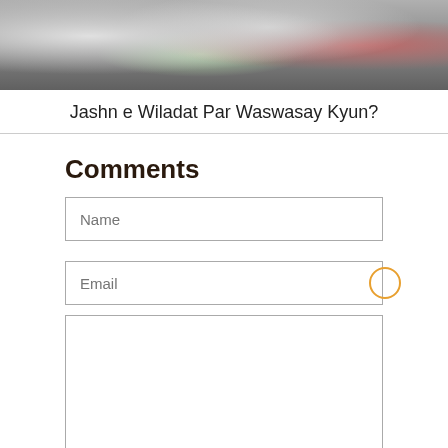[Figure (photo): Close-up photo of a fuzzy/woolly object with gray, green, and pinkish-red tones]
Jashn e Wiladat Par Waswasay Kyun?
Comments
Name
Email
Security Code